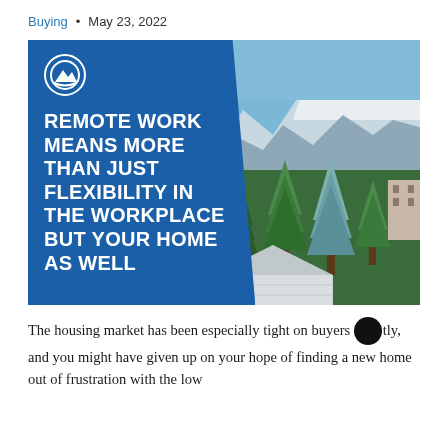Buying  •  May 23, 2022
[Figure (illustration): Banner image with a blue left panel containing a mountain logo and bold white text 'REMOTE WORK MEANS MORE THAN JUST FLEXIBILITY IN THE WORKPLACE BUT YOUR HOME AS WELL', and a right panel showing a photo of snow-capped mountains, pine trees, and a house rooftop under a blue sky.]
The housing market has been especially tight on buyers lately, and you might have given up on your hope of finding a new home out of frustration with the low